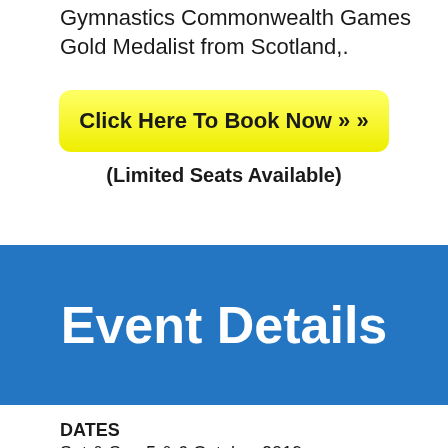Gymnastics Commonwealth Games Gold Medalist from Scotland,.
Click Here To Book Now » »
(Limited Seats Available)
Event Details
DATES
Sat & Sun 5 & 6 October 2019